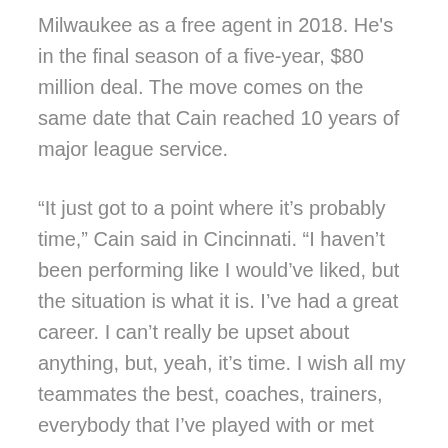Milwaukee as a free agent in 2018. He's in the final season of a five-year, $80 million deal. The move comes on the same date that Cain reached 10 years of major league service.
“It just got to a point where it’s probably time,” Cain said in Cincinnati. “I haven’t been performing like I would’ve liked, but the situation is what it is. I’ve had a great career. I can’t really be upset about anything, but, yeah, it’s time. I wish all my teammates the best, coaches, trainers, everybody that I’ve played with or met throughout my entire career, I wish them nothing but the best. It’s been a really fun ride for me for sure.”
Get all the latest Betting and Sport News updates on